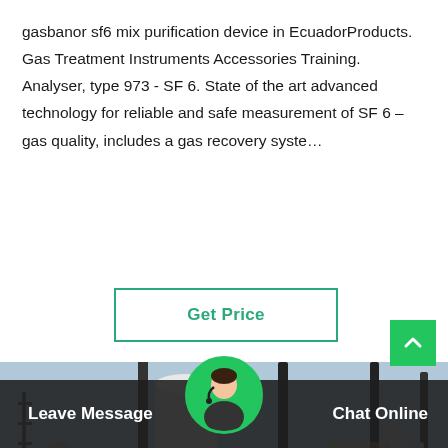gasbanor sf6 mix purification device in EcuadorProducts. Gas Treatment Instruments Accessories Training. Analyser, type 973 - SF 6. State of the art advanced technology for reliable and safe measurement of SF 6 –gas quality, includes a gas recovery syste…
Get Price
[Figure (photo): Outdoor industrial electrical substation with large cylindrical pipes and equipment, workers in blue coveralls and hard hats visible in the background]
Leave Message
Chat Online